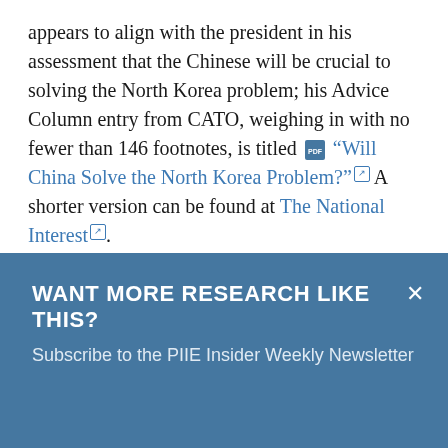appears to align with the president in his assessment that the Chinese will be crucial to solving the North Korea problem; his Advice Column entry from CATO, weighing in with no fewer than 146 footnotes, is titled [PDF icon] "Will China Solve the North Korea Problem?" [ext] A shorter version can be found at The National Interest [ext].
Bandow is right about one point: that any
WANT MORE RESEARCH LIKE THIS?
Subscribe to the PIIE Insider Weekly Newsletter